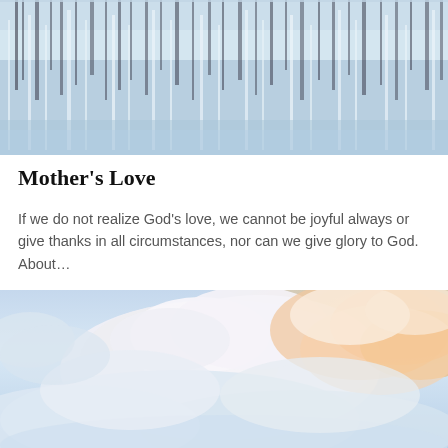[Figure (photo): A blurred/reflected water scene with blue and white tones, appearing like a waterfall or water reflection]
Mother's Love
If we do not realize God's love, we cannot be joyful always or give thanks in all circumstances, nor can we give glory to God. About...
[Figure (photo): An aerial view of dramatic cumulus clouds illuminated by golden/orange sunlight against a pale blue sky]